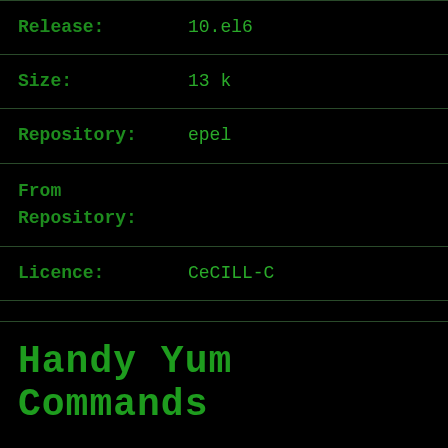| Field | Value |
| --- | --- |
| Release: | 10.el6 |
| Size: | 13 k |
| Repository: | epel |
| From Repository: |  |
| Licence: | CeCILL-C |
Handy Yum Commands